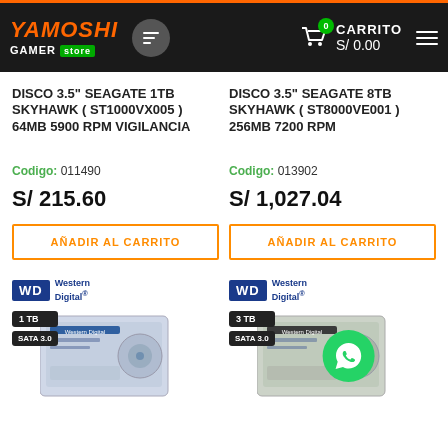YAMOSHI GAMER STORE | CARRITO S/ 0.00
DISCO 3.5" SEAGATE 1TB SKYHAWK ( ST1000VX005 ) 64MB 5900 RPM VIGILANCIA
Codigo: 011490
S/ 215.60
AÑADIR AL CARRITO
DISCO 3.5" SEAGATE 8TB SKYHAWK ( ST8000VE001 ) 256MB 7200 RPM
Codigo: 013902
S/ 1,027.04
AÑADIR AL CARRITO
[Figure (photo): Western Digital 1TB SATA 3.0 hard drive product image with WD logo]
[Figure (photo): Western Digital 3TB SATA 3.0 hard drive product image with WD logo and WhatsApp overlay icon]